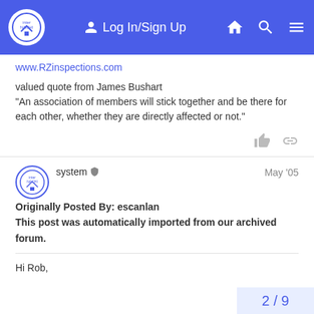InterNACHI Log In/Sign Up
www.RZinspections.com
valued quote from James Bushart
"An association of members will stick together and be there for each other, whether they are directly affected or not."
system  May '05
Originally Posted By: escanlan
This post was automatically imported from our archived forum.
Hi Rob,
2 / 9